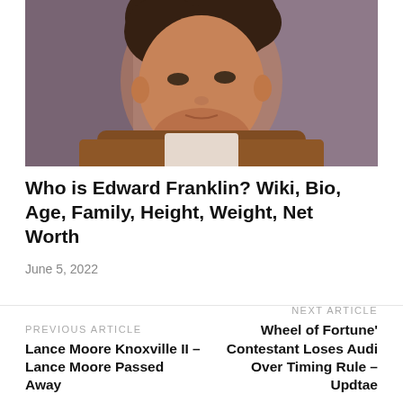[Figure (photo): Close-up photo of a young man with brown hair wearing a white undershirt and brown jacket, against a purple/mauve background]
Who is Edward Franklin? Wiki, Bio, Age, Family, Height, Weight, Net Worth
June 5, 2022
PREVIOUS ARTICLE
Lance Moore Knoxville II – Lance Moore Passed Away
NEXT ARTICLE
Wheel of Fortune' Contestant Loses Audi Over Timing Rule – Updtae